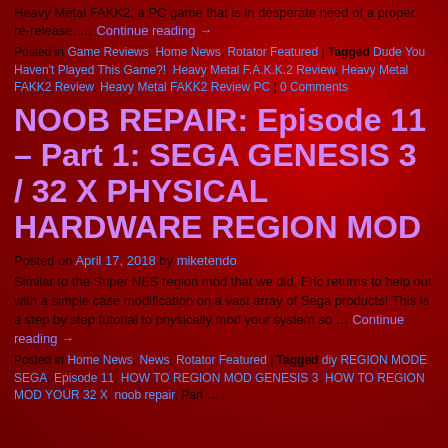Heavy Metal FAKK2, a PC game that is in desperate need of a proper re-release. … Continue reading →
Posted in Game Reviews, Home News, Rotator Featured | Tagged Dude You Haven't Played This Game?!, Heavy Metal F.A.K.K.2 Review, Heavy Metal FAKK2 Review, Heavy Metal FAKK2 Review PC | 0 Comments
NOOB REPAIR: Episode 11 – Part 1: SEGA GENESIS 3 / 32 X PHYSICAL HARDWARE REGION MOD
Posted on April 17, 2018 by miketendo
Similar to the Super NES region mod that we did, Eric returns to help out with a simple case modification on a vast array of Sega products! This is a step by step tutorial to physically mod your system so … Continue reading →
Posted in Home News, News, Rotator Featured | Tagged diy REGION MODE SEGA, Episode 11, HOW TO REGION MOD GENESIS 3, HOW TO REGION MOD YOUR 32 X, noob repair, Part …